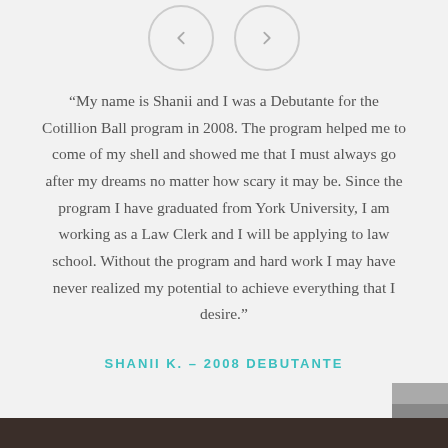[Figure (other): Navigation arrows - left and right circular buttons for a carousel/slider]
“My name is Shanii and I was a Debutante for the Cotillion Ball program in 2008. The program helped me to come of my shell and showed me that I must always go after my dreams no matter how scary it may be. Since the program I have graduated from York University, I am working as a Law Clerk and I will be applying to law school. Without the program and hard work I may have never realized my potential to achieve everything that I desire.”
SHANII K. – 2008 DEBUTANTE
[Figure (other): Scroll-to-top button (grey square with upward chevron) and mail/envelope button (dark grey square with envelope icon) on right side]